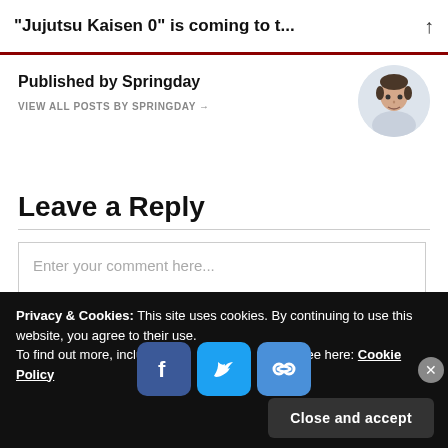“Jujutsu Kaisen 0” is coming to t...
Published by Springday
VIEW ALL POSTS BY SPRINGDAY →
[Figure (photo): Circular avatar photo of Springday author]
Leave a Reply
Enter your comment here...
Privacy & Cookies: This site uses cookies. By continuing to use this website, you agree to their use.
To find out more, including how to control cookies, see here: Cookie Policy
[Figure (logo): Facebook, Twitter, and chain-link share icons]
Close and accept